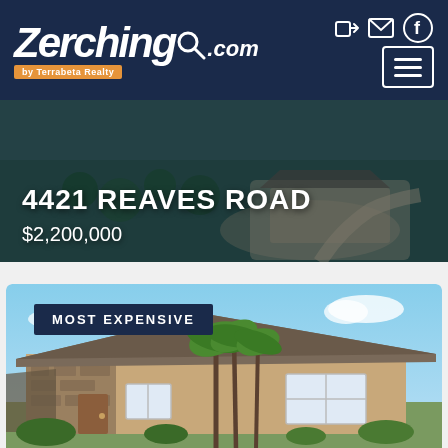Zerching by Terrabeta .com
4421 REAVES ROAD
$2,200,000
[Figure (photo): Aerial view of a residential property at 4421 Reaves Road, showing a large home with landscaping, driveway, and surrounding greenery.]
[Figure (photo): Exterior front view of a ranch-style house with tan stucco finish, stone accent entry, large windows, and tall palm-like trees in the front yard. Badge reads MOST EXPENSIVE.]